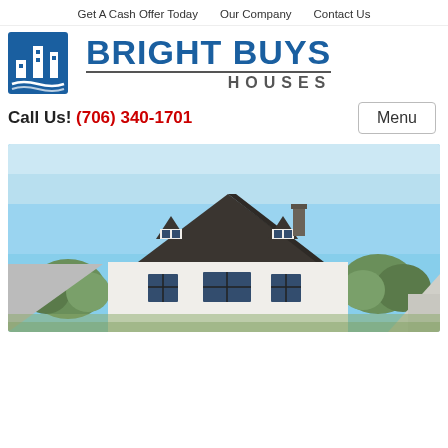Get A Cash Offer Today   Our Company   Contact Us
[Figure (logo): Bright Buys Houses logo with blue building icon and bold blue text]
Call Us! (706) 340-1701
[Figure (photo): Photo of a white house with blue-framed windows and dormer peaks against a blue sky, with trees in background]